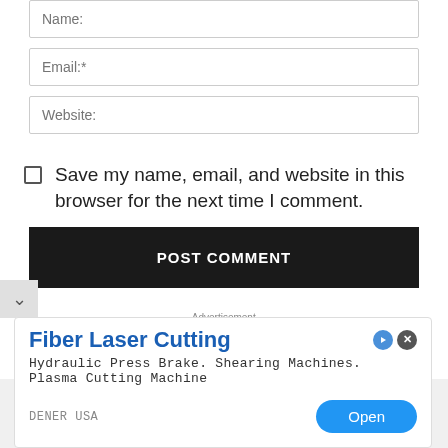Name:
Email:*
Website:
Save my name, email, and website in this browser for the next time I comment.
POST COMMENT
- Advertisement -
[Figure (screenshot): Dynasty Warriors game advertisement banner image]
[Figure (infographic): Ad popup: Fiber Laser Cutting - Hydraulic Press Brake. Shearing Machines. Plasma Cutting Machine - DENER USA - Open button]